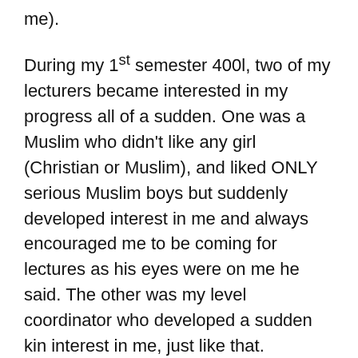me).
During my 1st semester 400l, two of my lecturers became interested in my progress all of a sudden. One was a Muslim who didn't like any girl (Christian or Muslim), and liked ONLY serious Muslim boys but suddenly developed interest in me and always encouraged me to be coming for lectures as his eyes were on me he said. The other was my level coordinator who developed a sudden kin interest in me, just like that.
I never gave them a kobo but I just found favor in their sight. The one who was my level coordinator was made my project supervisor. During my project defense, as it approached my turn I was very nervous because I copied everything word for word (no changes except the place my supervisor noticed and told me to make corrections) and so I didn't